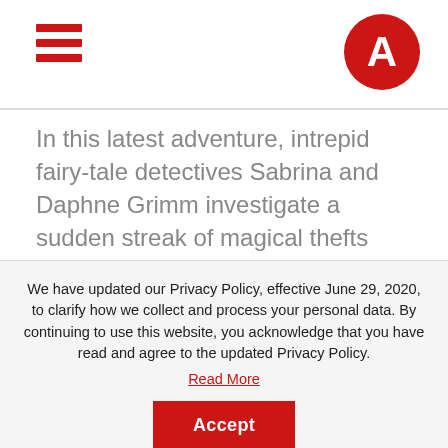[hamburger menu icon] [A logo]
In this latest adventure, intrepid fairy-tale detectives Sabrina and Daphne Grimm investigate a sudden streak of magical thefts that might add up to a very grim future for their family, who are not so popular in Ferryport Landing these days. With Granny Relda desperately scrambling to pay Mayor Heart’s outrageous taxes on humans, the Sisters Grimm tackle their first solo case—with a little help from Puck, of
We have updated our Privacy Policy, effective June 29, 2020, to clarify how we collect and process your personal data. By continuing to use this website, you acknowledge that you have read and agree to the updated Privacy Policy. Read More
Accept